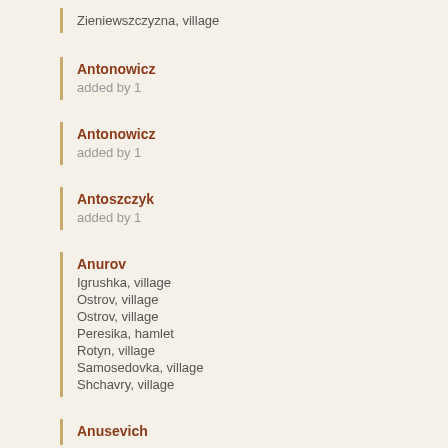Zieniewszczyzna, village
Antonowicz
added by 1
Antonowicz
added by 1
Antoszczyk
added by 1
Anurov
Igrushka, village
Ostrov, village
Ostrov, village
Peresika, hamlet
Rotyn, village
Samosedovka, village
Shchavry, village
Anusevich